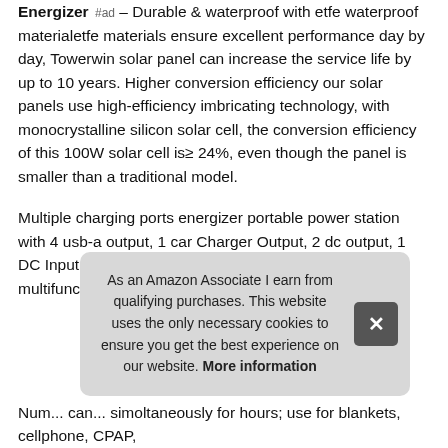Energizer #ad – Durable & waterproof with etfe waterproof materialetfe materials ensure excellent performance day by day, Towerwin solar panel can increase the service life by up to 10 years. Higher conversion efficiency our solar panels use high-efficiency imbricating technology, with monocrystalline silicon solar cell, the conversion efficiency of this 100W solar cell is≥ 24%, even though the panel is smaller than a traditional model.
Multiple charging ports energizer portable power station with 4 usb-a output, 1 car Charger Output, 2 dc output, 1 DC Input, 1 AC Output, 1 60W USB-C Output, multifunctional supplies to meet different needs.
As an Amazon Associate I earn from qualifying purchases. This website uses the only necessary cookies to ensure you get the best experience on our website. More information
Num... can... simultaneously for hours; use for blankets, cellphone, CPAP,